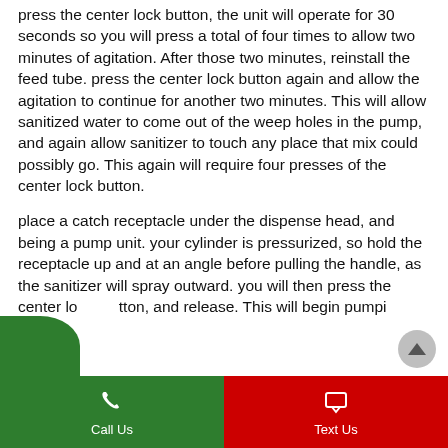press the center lock button, the unit will operate for 30 seconds so you will press a total of four times to allow two minutes of agitation. After those two minutes, reinstall the feed tube. press the center lock button again and allow the agitation to continue for another two minutes. This will allow sanitized water to come out of the weep holes in the pump, and again allow sanitizer to touch any place that mix could possibly go. This again will require four presses of the center lock button.
place a catch receptacle under the dispense head, and being a pump unit. your cylinder is pressurized, so hold the receptacle up and at an angle before pulling the handle, as the sanitizer will spray outward. you will then press the center lock button, and release. This will begin pumpi...
Call Us | Text Us